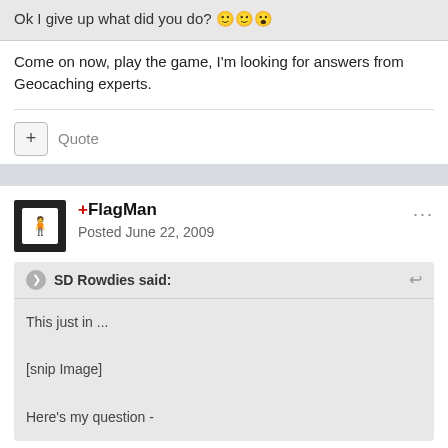Ok I give up what did you do? 🙂🙂😮
Come on now, play the game, I'm looking for answers from Geocaching experts.
+ Quote
+FlagMan
Posted June 22, 2009
SD Rowdies said:
This just in ...
[snip Image]
Here's my question -